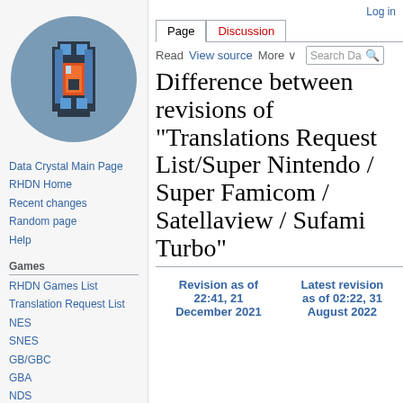[Figure (logo): DataCrystal wiki logo: pixel art sprite (appears to be a game character/item) in a circular blue-gray frame]
Data Crystal Main Page
RHDN Home
Recent changes
Random page
Help
Games
RHDN Games List
Translation Request List
NES
SNES
GB/GBC
GBA
NDS
Log in
Difference between revisions of "Translations Request List/Super Nintendo / Super Famicom / Satellaview / Sufami Turbo"
| Revision as of 22:41, 21 December 2021 | Latest revision as of 02:22, 31 August 2022 |
| --- | --- |